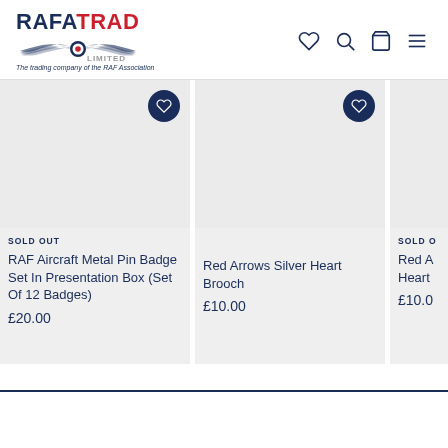[Figure (logo): RAFATRAD LIMITED logo with wings and roundel, tagline: The trading company of the RAF Association]
[Figure (screenshot): Product card 1: SOLD OUT badge, RAF Aircraft Metal Pin Badge Set In Presentation Box (Set Of 12 Badges), £20.00, with wishlist button]
[Figure (screenshot): Product card 2: Red Arrows Silver Heart Brooch, £10.00, with wishlist button]
[Figure (screenshot): Product card 3 (partially visible): SOLD OUT badge, Red A... Heart..., £10.0...]